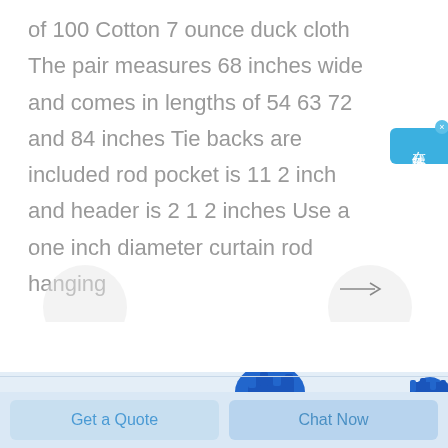of 100 Cotton 7 ounce duck cloth The pair measures 68 inches wide and comes in lengths of 54 63 72 and 84 inches Tie backs are included rod pocket is 11 2 inch and header is 2 1 2 inches Use a one inch diameter curtain rod hanging
[Figure (photo): Blue and black mechanical parts/hardware components including springs and connectors, displayed on light background. Chat widget overlay showing Chinese characters 在线咨询 (online consultation) in blue.]
Get a Quote
Chat Now